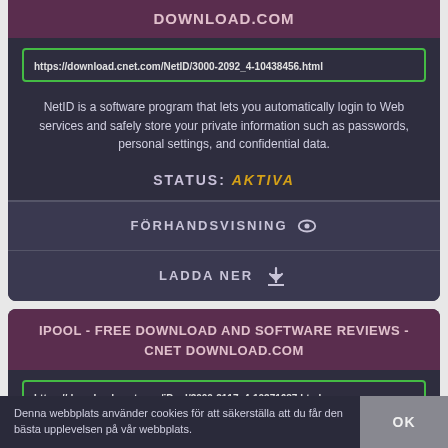DOWNLOAD.COM
https://download.cnet.com/NetID/3000-2092_4-10438456.html
NetID is a software program that lets you automatically login to Web services and safely store your private information such as passwords, personal settings, and confidential data.
STATUS: AKTIVA
FÖRHANDSVISNING
LADDA NER
IPOOL - FREE DOWNLOAD AND SOFTWARE REVIEWS - CNET DOWNLOAD.COM
https://download.cnet.com/iPool/3000-2117_4-10371687.html
Denna webbplats använder cookies för att säkerställa att du får den bästa upplevelsen på vår webbplats.